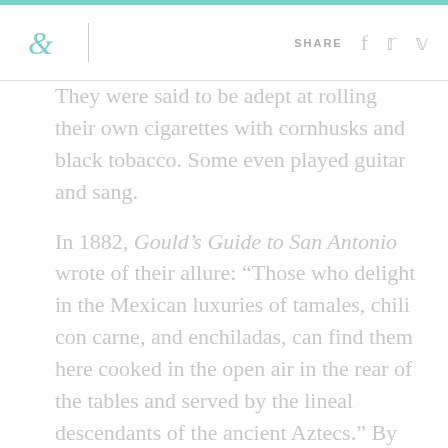& | SHARE
They were said to be adept at rolling their own cigarettes with cornhusks and black tobacco. Some even played guitar and sang.
In 1882, Gould’s Guide to San Antonio wrote of their allure: “Those who delight in the Mexican luxuries of tamales, chili con carne, and enchiladas, can find them here cooked in the open air in the rear of the tables and served by the lineal descendants of the ancient Aztecs.” By creating the mystique of the bewitching Mexican señorita, they became mythological sirens in the Anglo imagination.